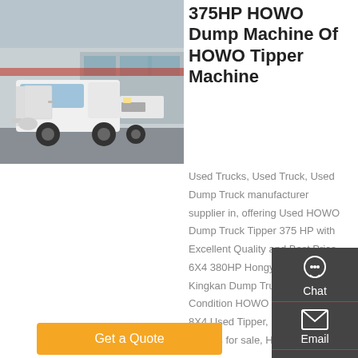[Figure (photo): White HOWO truck/tractor unit parked in front of a building]
375HP HOWO Dump Machine Of HOWO Tipper Machine
Used Trucks, Used Truck, Used Dump Truck manufacturer supplier in, offering Used HOWO Dump Truck Tipper 375 HP with Excellent Quality and Best Price, 6X4 380HP Hongyan Iveco New Kingkan Dump Truck, Excellent Condition HOWO 375HP 12tyres 8X4 Used Tipper, Used Howo Tippers for sale, Howo ...
[Figure (infographic): Sidebar with Chat, Email, Contact, and Top navigation icons on dark grey background]